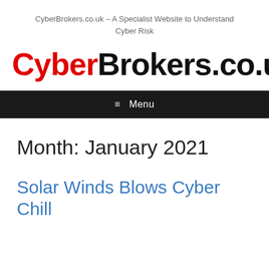CyberBrokers.co.uk – A Specialist Website to Understand Cyber Risk
CyberBrokers.co.uk
≡ Menu
Month: January 2021
Solar Winds Blows Cyber Chill